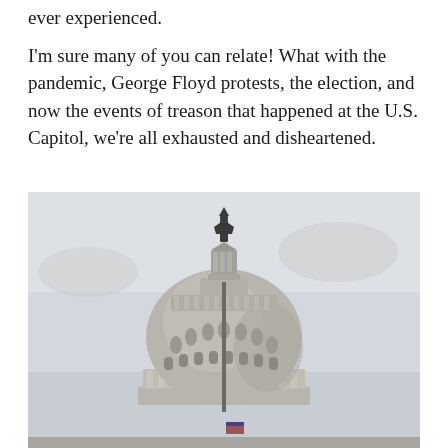ever experienced.

I'm sure many of you can relate! What with the pandemic, George Floyd protests, the election, and now the events of treason that happened at the U.S. Capitol, we're all exhausted and disheartened.
[Figure (photo): Photograph of the U.S. Capitol dome from below, showing the statue of Freedom at the top and a flagpole in front, set against an overcast sky.]